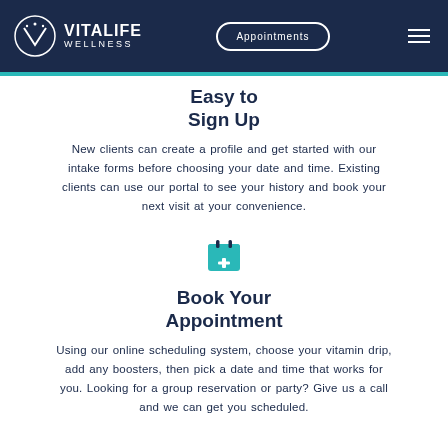VITALIFE WELLNESS | Appointments
Easy to Sign Up
New clients can create a profile and get started with our intake forms before choosing your date and time. Existing clients can use our portal to see your history and book your next visit at your convenience.
[Figure (illustration): Teal calendar icon with a plus sign]
Book Your Appointment
Using our online scheduling system, choose your vitamin drip, add any boosters, then pick a date and time that works for you. Looking for a group reservation or party? Give us a call and we can get you scheduled.